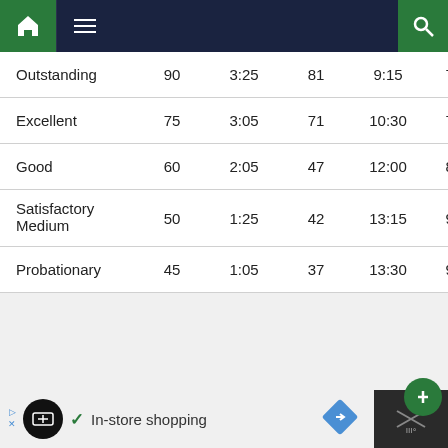Navigation bar with home, menu, and search icons
| Outstanding | 90 | 3:25 | 81 | 9:15 | 7:25 |
| Excellent | 75 | 3:05 | 71 | 10:30 | 7:55 |
| Good | 60 | 2:05 | 47 | 12:00 | 8:55 |
| Satisfactory Medium | 50 | 1:25 | 42 | 13:15 | 9:15 |
| Probationary | 45 | 1:05 | 37 | 13:30 | 9:25 |
Ad: In-store shopping